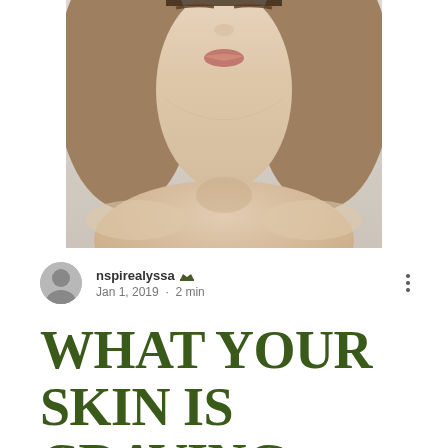[Figure (photo): Close-up photo of a young woman's face and neck/shoulders, cropped from the nose down to the shoulders, showing smooth skin, on a light background]
nspirealyssa ▲ Jan 1, 2019 · 2 min
WHAT YOUR SKIN IS CRAVING